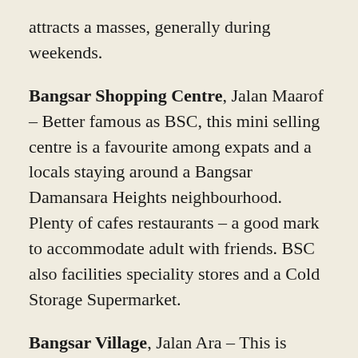attracts a masses, generally during weekends.
Bangsar Shopping Centre, Jalan Maarof – Better famous as BSC, this mini selling centre is a favourite among expats and a locals staying around a Bangsar Damansara Heights neighbourhood. Plenty of cafes restaurants – a good mark to accommodate adult with friends. BSC also facilities speciality stores and a Cold Storage Supermarket.
Bangsar Village, Jalan Ara – This is another favourite with those staying around Bangsar Damansara Heights neighbourhood. Bangsar Village 2 is related to a strange Bangsar Village by a lonesome walking bridge.
Mid Valley Megamall – This unequivocally is "mega" with over 430 shops congested into what claims to be one of South-East Asia's largest selling malls. Anchor